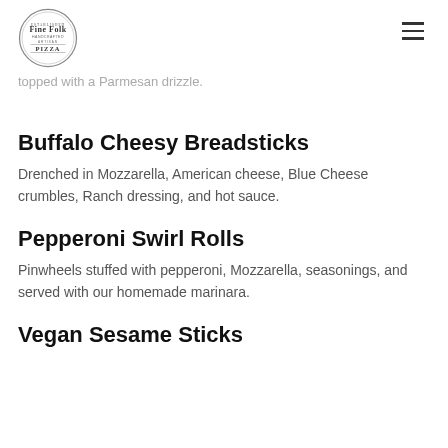FineFolk Handcrafted Artisan Pizza — navigation header with logo and hamburger menu
topped with a Parmesan drizzle.
Buffalo Cheesy Breadsticks
Drenched in Mozzarella, American cheese, Blue Cheese crumbles, Ranch dressing, and hot sauce.
Pepperoni Swirl Rolls
Pinwheels stuffed with pepperoni, Mozzarella, seasonings, and served with our homemade marinara.
Vegan Sesame Sticks